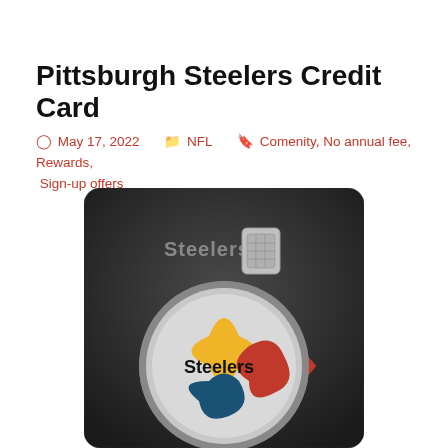Pittsburgh Steelers Credit Card
May 17, 2022   NFL   Comenity, No annual fee, Rewards, Sign-up offers
[Figure (photo): Pittsburgh Steelers Credit Card — dark/black card with Steelers logo (four-pointed stars in gold, red, and blue) and EMV chip, with 'Steelers' text on the card.]